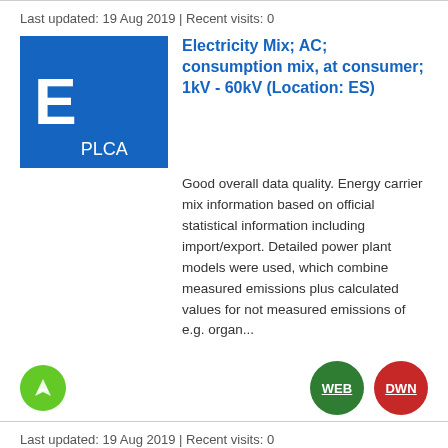Last updated: 19 Aug 2019 | Recent visits: 0
Electricity Mix; AC; consumption mix, at consumer; 1kV - 60kV (Location: ES)
Good overall data quality. Energy carrier mix information based on official statistical information including import/export. Detailed power plant models were used, which combine measured emissions plus calculated values for not measured emissions of e.g. organ...
[Figure (logo): Green circular icon with a chart/flag symbol]
[Figure (logo): Green circle button labeled WEB]
[Figure (logo): Red circle button labeled DWN]
Last updated: 19 Aug 2019 | Recent visits: 0